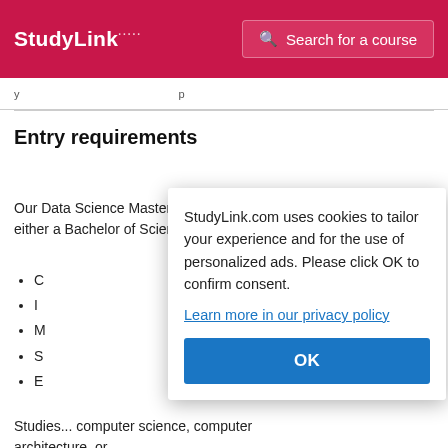StudyLink — Search for a course
y ... p
Entry requirements
Our Data Science Master's programme is open to applicants with either a Bachelor of Science degree or who ar...
C...
I...
M...
S...
E...
Studies... computer science, computer architecture, or
StudyLink.com uses cookies to tailor your experience and for the use of personalized ads. Please click OK to confirm consent. Learn more in our privacy policy OK